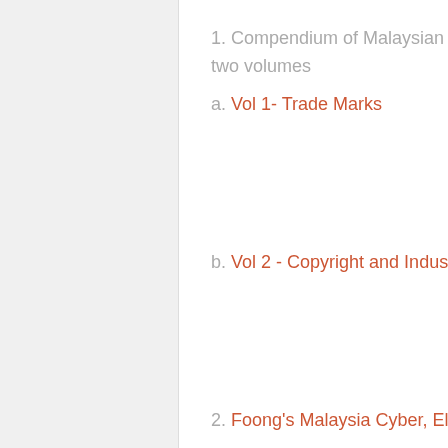1. Compendium of Malaysian Intellectual Property Cases consisting of the following two volumes
a. Vol 1- Trade Marks
b. Vol 2 - Copyright and Industrial Designs
2. Foong's Malaysia Cyber, Electronic Evidence and Information Technology Law
Subscribe!